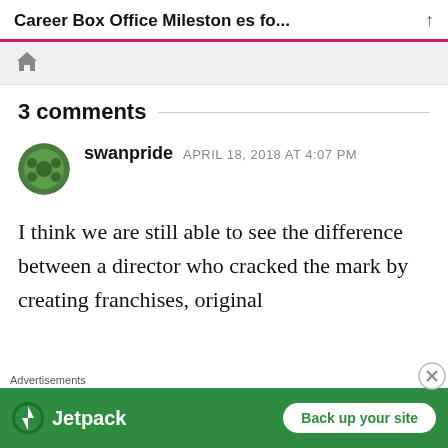Career Box Office Milestones fo...
3 comments
swanpride  APRIL 18, 2018 AT 4:07 PM
I think we are still able to see the difference between a director who cracked the mark by creating franchises, original
Advertisements
[Figure (logo): Jetpack advertisement banner with logo and 'Back up your site' button on green background]